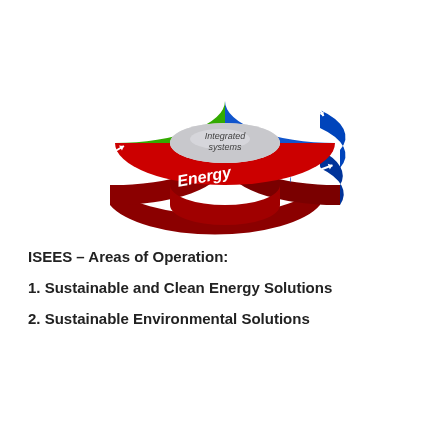[Figure (infographic): 3D donut/ring diagram showing three integrated sectors: Environment (green, top), Water (blue, right), and Energy (red, bottom-left), with a gray center labeled 'Integrated systems'. Arrows between sectors indicate interconnection.]
ISEES – Areas of Operation:
1. Sustainable and Clean Energy Solutions
2. Sustainable Environmental Solutions